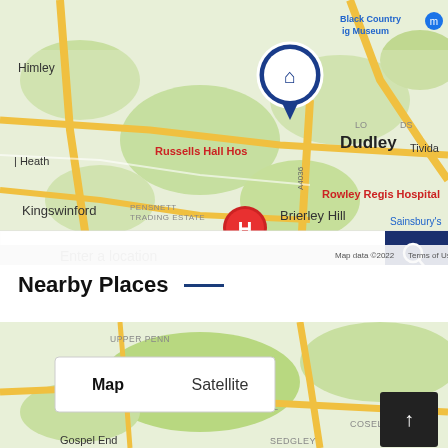[Figure (map): Google Maps view showing Dudley, Brierley Hill, Kingswinford, Himley, Russells Hall Hospital, Rowley Regis Hospital area with a home location pin and hospital marker. Includes location search bar and zoom controls.]
Nearby Places
[Figure (map): Second Google Maps view showing Upper Penn, Cinder Hill, Coseley, Sedgley area with Map/Satellite toggle controls visible.]